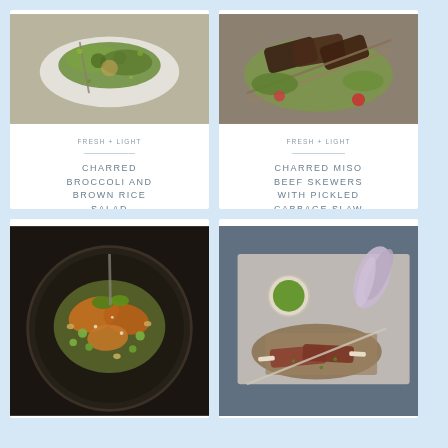[Figure (photo): Overhead food photo of charred broccoli and brown rice salad on a white serving board with fork, garnished with greens]
FRESH + LIGHT
CHARRED BROCCOLI AND BROWN RICE SALAD
[Figure (photo): Overhead food photo of charred miso beef skewers with pickled cabbage slaw on a wooden board with skewers]
FRESH + LIGHT
CHARRED MISO BEEF SKEWERS WITH PICKLED CABBAGE SLAW
[Figure (photo): Overhead food photo of a dark bowl with chicken salad, edamame, peanuts and greens on dark background]
[Figure (photo): Overhead food photo of lamb chops on a slate board with green herb sauce and radicchio]